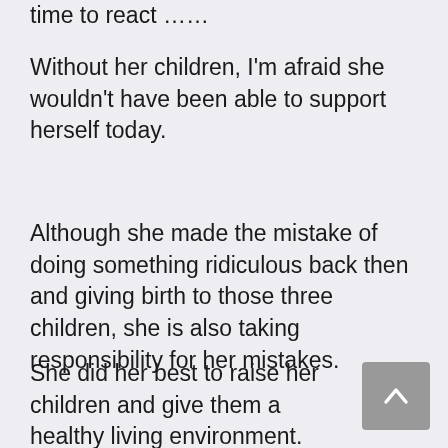time to react ……
Without her children, I'm afraid she wouldn't have been able to support herself today.
Although she made the mistake of doing something ridiculous back then and giving birth to those three children, she is also taking responsibility for her mistakes.
She did her best to raise her children and give them a healthy living environment.